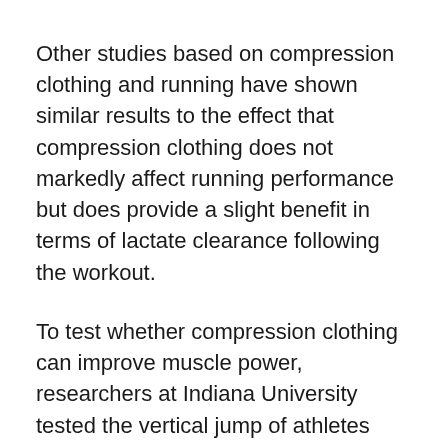Other studies based on compression clothing and running have shown similar results to the effect that compression clothing does not markedly affect running performance but does provide a slight benefit in terms of lactate clearance following the workout.
To test whether compression clothing can improve muscle power, researchers at Indiana University tested the vertical jump of athletes when wearing compression clothing and when jumping in standard